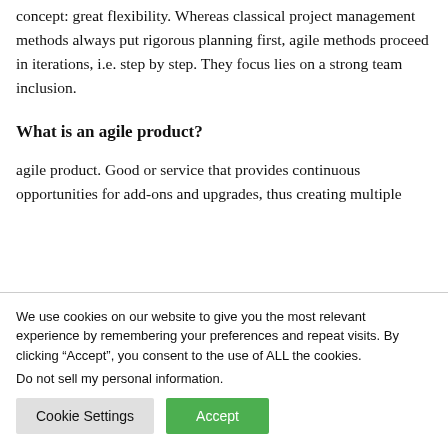concept: great flexibility. Whereas classical project management methods always put rigorous planning first, agile methods proceed in iterations, i.e. step by step. They focus lies on a strong team inclusion.
What is an agile product?
agile product. Good or service that provides continuous opportunities for add-ons and upgrades, thus creating multiple
We use cookies on our website to give you the most relevant experience by remembering your preferences and repeat visits. By clicking “Accept”, you consent to the use of ALL the cookies.
Do not sell my personal information.